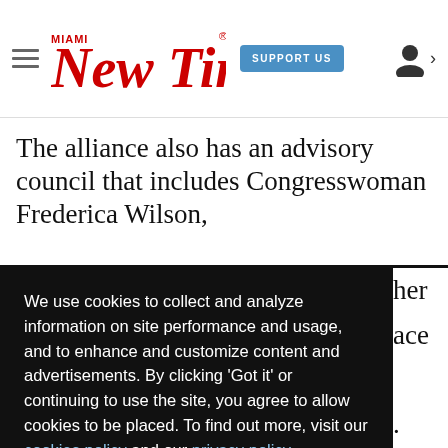Miami New Times — SUPPORT US
The alliance also has an advisory council that includes Congresswoman Frederica Wilson,
We use cookies to collect and analyze information on site performance and usage, and to enhance and customize content and advertisements. By clicking 'Got it' or continuing to use the site, you agree to allow cookies to be placed. To find out more, visit our cookies policy and our privacy policy.
Got it!